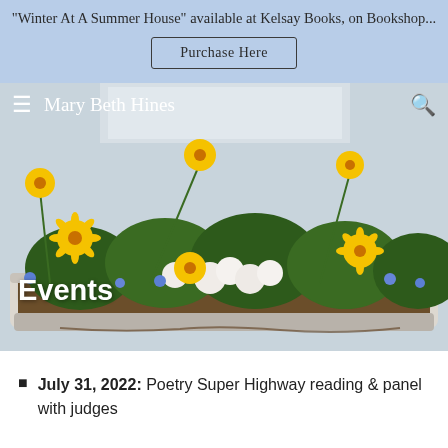"Winter At A Summer House" available at Kelsay Books, on Bookshop...
Purchase Here
[Figure (photo): A white wooden window box planter filled with yellow daisies, white petunias, and small blue flowers, photographed outdoors. A navigation bar overlay shows a hamburger menu icon, 'Mary Beth Hines' site name in white, and a search icon. An 'Events' heading is overlaid in bold white text at the bottom left of the image.]
July 31, 2022: Poetry Super Highway reading & panel with judges